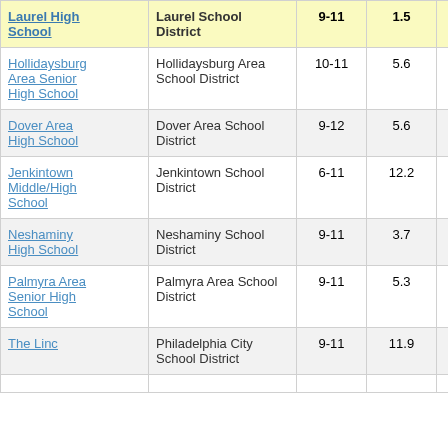| School | District | Grades | Col4 | Col5 |
| --- | --- | --- | --- | --- |
| Laurel High School | Laurel School District | 9-11 | 1.5 | 3 |
| Hollidaysburg Area Senior High School | Hollidaysburg Area School District | 10-11 | 5.6 |  |
| Dover Area High School | Dover Area School District | 9-12 | 5.6 |  |
| Jenkintown Middle/High School | Jenkintown School District | 6-11 | 12.2 | 4 |
| Neshaminy High School | Neshaminy School District | 9-11 | 3.7 |  |
| Palmyra Area Senior High School | Palmyra Area School District | 9-11 | 5.3 |  |
| The Linc | Philadelphia City School District | 9-11 | 11.9 | 4 |